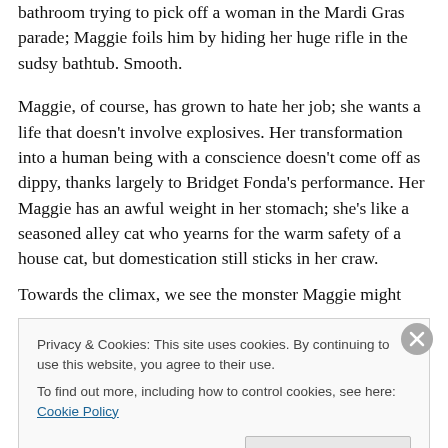bathroom trying to pick off a woman in the Mardi Gras parade; Maggie foils him by hiding her huge rifle in the sudsy bathtub. Smooth.
Maggie, of course, has grown to hate her job; she wants a life that doesn't involve explosives. Her transformation into a human being with a conscience doesn't come off as dippy, thanks largely to Bridget Fonda's performance. Her Maggie has an awful weight in her stomach; she's like a seasoned alley cat who yearns for the warm safety of a house cat, but domestication still sticks in her craw.
Towards the climax, we see the monster Maggie might
Privacy & Cookies: This site uses cookies. By continuing to use this website, you agree to their use.
To find out more, including how to control cookies, see here: Cookie Policy
Close and accept